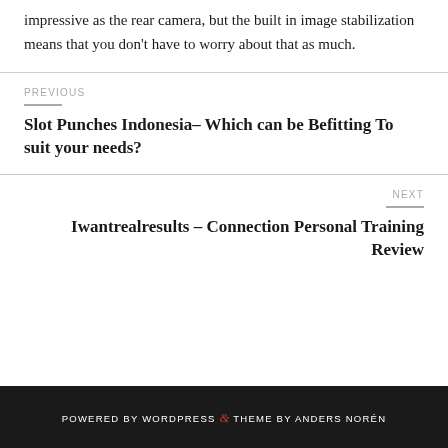impressive as the rear camera, but the built in image stabilization means that you don't have to worry about that as much.
PREVIOUS
Slot Punches Indonesia– Which can be Befitting To suit your needs?
NEXT
Iwantrealresults – Connection Personal Training Review
POWERED BY WORDPRESS & THEME BY ANDERS NORÉN